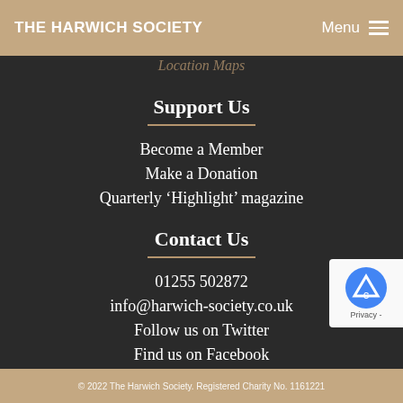THE HARWICH SOCIETY | Menu
Location Maps
Support Us
Become a Member
Make a Donation
Quarterly ‘Highlight’ magazine
Contact Us
01255 502872
info@harwich-society.co.uk
Follow us on Twitter
Find us on Facebook
© 2022 The Harwich Society. Registered Charity No. 1161221